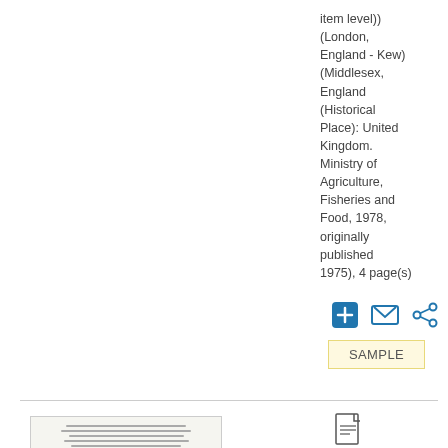item level)) (London, England - Kew) (Middlesex, England (Historical Place): United Kingdom. Ministry of Agriculture, Fisheries and Food, 1978, originally published 1975), 4 page(s)
[Figure (other): Three icon buttons: a blue plus/add button, a blue envelope/email button, and a blue share button]
SAMPLE
[Figure (photo): Thumbnail image of a document page with horizontal text lines]
Associatio